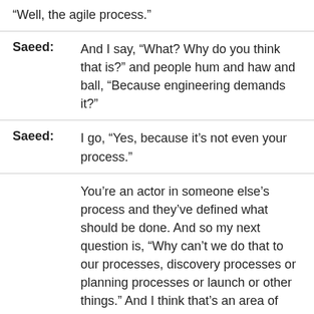“Well, the agile process.”
Saeed: And I say, “What? Why do you think that is?” and people hum and haw and ball, “Because engineering demands it?”
Saeed: I go, “Yes, because it’s not even your process.”
You’re an actor in someone else’s process and they’ve defined what should be done. And so my next question is, “Why can’t we do that to our processes, discovery processes or planning processes or launch or other things.” And I think that’s an area of maturity that really has to happen. So, I really just put some focus there and said, “Okay, how can we think about our processes? Have we come up